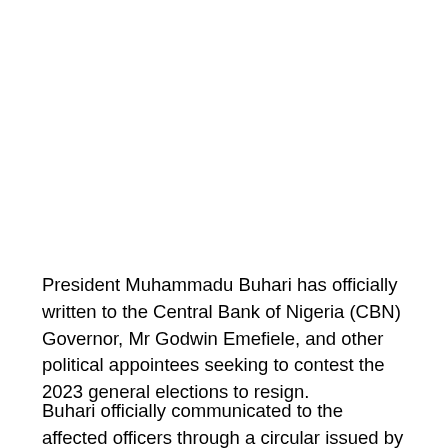President Muhammadu Buhari has officially written to the Central Bank of Nigeria (CBN) Governor, Mr Godwin Emefiele, and other political appointees seeking to contest the 2023 general elections to resign.
Buhari officially communicated to the affected officers through a circular issued by the Secretary to the